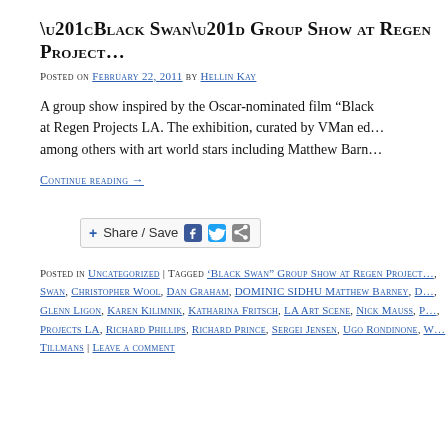“Black Swan” Group Show at Regen Project…
Posted on February 22, 2011 by Hellin Kay
A group show inspired by the Oscar-nominated film “Black… at Regen Projects LA. The exhibition, curated by VMan ed… among others with art world stars including Matthew Barn…
Continue reading →
[Figure (other): Share / Save social sharing button with Facebook, Twitter and share icons]
Posted in Uncategorized | Tagged ‘Black Swan’ Group Show at Regen Project…, Black Swan, Christopher Wool, Dan Graham, DOMINIC SIDHU Matthew Barney, D…, Glenn Ligon, Karen Kilimnik, Katharina Fritsch, LA Art Scene, Nick Mauss, P…, Projects LA, Richard Phillips, Richard Prince, Sergei Jensen, Ugo Rondinone, W… Tillmans | Leave a comment